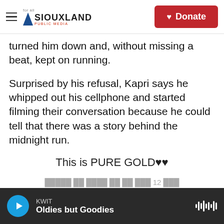for all | SIOUXLAND PUBLIC MEDIA | Donate
turned him down and, without missing a beat, kept on running.
Surprised by his refusal, Kapri says he whipped out his cellphone and started filming their conversation because he could tell that there was a story behind the midnight run.
This is PURE GOLD♥♥
[comment text in non-Latin script, partially visible]
KWIT — Oldies but Goodies